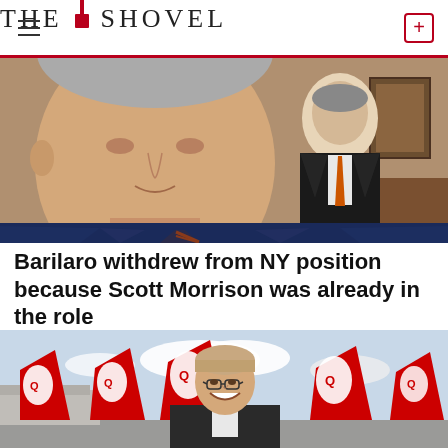THE SHOVEL
[Figure (photo): Two men in suits in an office setting, one in foreground wearing a navy suit with striped tie, another in background in dark suit with orange tie]
Barilaro withdrew from NY position because Scott Morrison was already in the role
[Figure (photo): Man smiling in front of multiple Qantas aircraft tails at an airport]